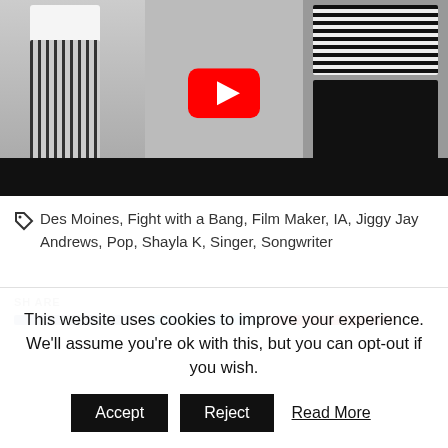[Figure (screenshot): YouTube video thumbnail showing three women in various outfits (striped wide-leg pants, black shorts, striped bodysuit) with a YouTube play button overlay in the center. A black bar at the bottom of the video player.]
Des Moines, Fight with a Bang, Film Maker, IA, Jiggy Jay Andrews, Pop, Shayla K, Singer, Songwriter
SHARE
This website uses cookies to improve your experience. We'll assume you're ok with this, but you can opt-out if you wish.
Accept  Reject  Read More